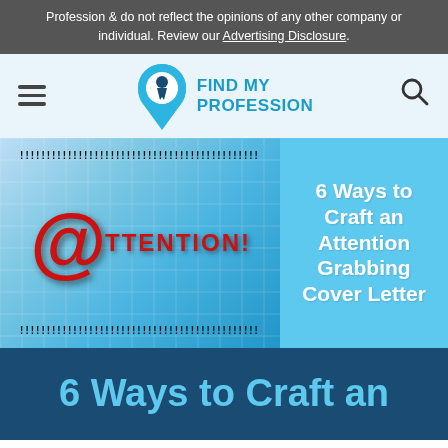Profession & do not reflect the opinions of any other company or individual. Review our Advertising Disclosure.
[Figure (logo): Find My Profession logo with location pin icon and hamburger menu and search icon navigation bar]
[Figure (infographic): Article feature image split into two panels: left panel shows '@ttention!' text on blue graphic background with zigzag borders; right panel shows '6 Ways to Craft an Attention Grabbing Cover Letter' in white bold text on light blue background]
6 Ways to Craft an